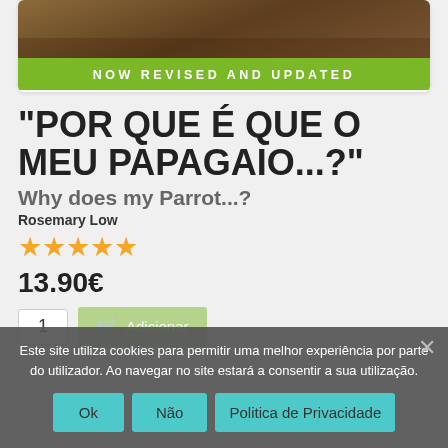[Figure (photo): Top portion of a book cover showing parrots with a green banner reading NOW REVISED AND UPDATED]
"POR QUE É QUE O MEU PAPAGAIO...?"
Why does my Parrot...?
Rosemary Low
[Figure (other): 4 gold/orange star rating icons]
13.90€
1
Este site utiliza cookies para permitir uma melhor experiência por parte do utilizador. Ao navegar no site estará a consentir a sua utilização.
Ok
Não
Politica de Privacidade